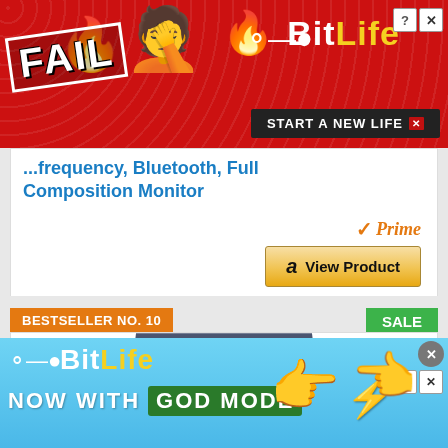[Figure (photo): BitLife mobile game advertisement banner with 'FAIL' text, emoji facepalm, fire graphics, BitLife logo, and 'START A NEW LIFE' button on red background]
Frequency, Bluetooth, Full Composition Monitor
[Figure (logo): Amazon Prime badge with orange checkmark and 'Prime' text]
[Figure (other): Amazon 'View Product' button with amazon logo]
BESTSELLER NO. 10
SALE
[Figure (photo): Dark body composition scale/smart scale product image]
[Figure (photo): BitLife advertisement banner - NOW WITH GOD MODE, light blue background with pointing hand emoji and lightning bolt]